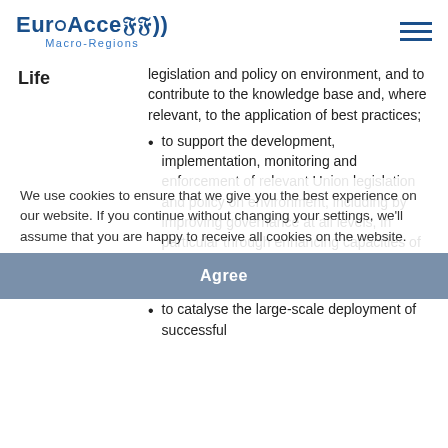EuroAccess Macro-Regions
Life
legislation and policy on environment, and to contribute to the knowledge base and, where relevant, to the application of best practices;
to support the development, implementation, monitoring and enforcement of relevant Union legislation and policy on environment, including by improving governance at all levels, in particular through enhancing capacities of public and private actors and the involvement of civil society;
to catalyse the large-scale deployment of successful
We use cookies to ensure that we give you the best experience on our website. If you continue without changing your settings, we'll assume that you are happy to receive all cookies on the website.
Agree